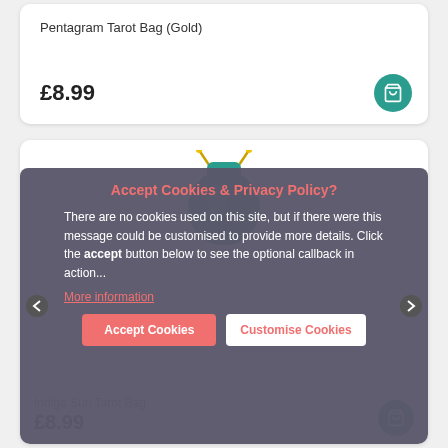Pentagram Tarot Bag (Gold)
£8.99
Accept Cookies & Privacy Policy?
There are no cookies used on this site, but if there were this message could be customised to provide more details. Click the accept button below to see the optional callback in action...
More information
Indigo Sun Tarot Bag
Accept Cookies
Customise Cookies
£8.99